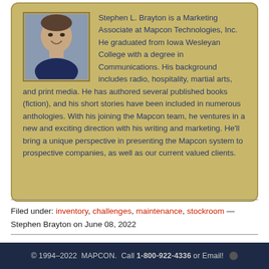[Figure (photo): Headshot photo of Stephen L. Brayton, a smiling middle-aged man in a dark shirt]
Stephen L. Brayton is a Marketing Associate at Mapcon Technologies, Inc. He graduated from Iowa Wesleyan College with a degree in Communications. His background includes radio, hospitality, martial arts, and print media. He has authored several published books (fiction), and his short stories have been included in numerous anthologies. With his joining the Mapcon team, he ventures in a new and exciting direction with his writing and marketing. He'll bring a unique perspective in presenting the Mapcon system to prospective companies, as well as our current valued clients.
Filed under: inventory, challenges, maintenance, stockroom — Stephen Brayton on June 08, 2022
© 1994–2022  MAPCON.  Call 1-800-922-4336 or Email!